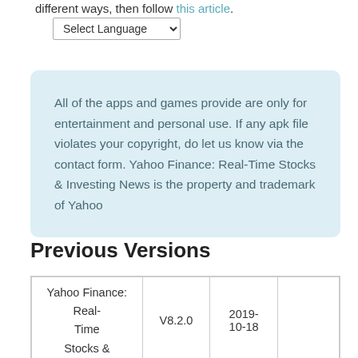different ways, then follow this article.
Select Language (dropdown)
All of the apps and games provide are only for entertainment and personal use. If any apk file violates your copyright, do let us know via the contact form. Yahoo Finance: Real-Time Stocks & Investing News is the property and trademark of Yahoo
Previous Versions
| Yahoo Finance:
Real-Time
Stocks & | V8.2.0 | 2019-10-18 |  |